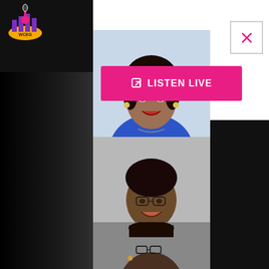[Figure (logo): WCEG radio station logo with microphone and cityscape graphic, purple and gold colors]
[Figure (photo): Close button UI element with X in a square border]
[Figure (other): Pink button with external link icon and text LISTEN LIVE]
[Figure (photo): Portrait photo of a woman in a blue top smiling]
[Figure (photo): Portrait photo of a man in a dark suit with glasses and yellow tie]
[Figure (photo): Partial portrait photo of a woman with glasses]